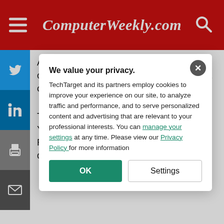ComputerWeekly.com
Amazon today announced a new hub in central London to focus on the development of digital media products.
The eight-floor workplace in Glasshouse Yard, near Barbican and close to Silicon Roundabout, will house the design and development teams of Pushbutton – bo... software developers, designers and u...
We value your privacy.
TechTarget and its partners employ cookies to improve your experience on our site, to analyze traffic and performance, and to serve personalized content and advertising that are relevant to your professional interests. You can manage your settings at any time. Please view our Privacy Policy for more information
The Sub...
The P...